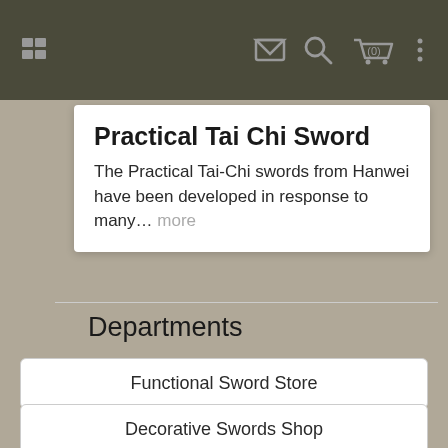Navigation bar with menu, mail, search, cart (0), and more icons
Practical Tai Chi Sword
The Practical Tai-Chi swords from Hanwei have been developed in response to many... more
Departments
Functional Sword Store
Decorative Swords Shop
Fixed Blade Knives
Folding Pocket Knives (partial)